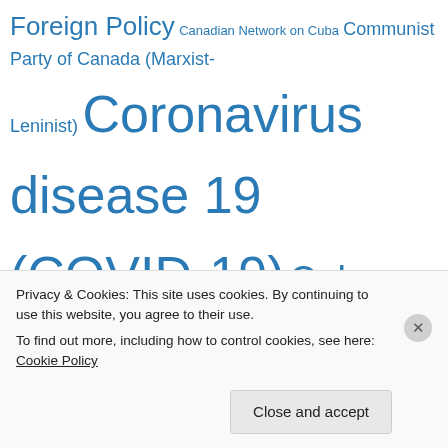Foreign Policy Canadian Network on Cuba Communist Party of Canada (Marxist-Leninist) Coronavirus disease 19 (COVID-19) Cuba Cuba - United States Disinformation Environment Event Falsification of history Geopolitics Germany Halifax International Security Forum Harper Agenda Harper Government Human Rights Iran Ireland Islamic State in Iraq and Syria (ISIS) Israel - state terrorism Justin Trudeau Government Legacies: Lives lived / past progressive More articles by Tony
Privacy & Cookies: This site uses cookies. By continuing to use this website, you agree to their use. To find out more, including how to control cookies, see here: Cookie Policy